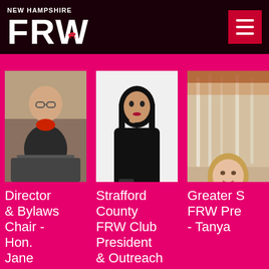NEW HAMPSHIRE FRW
[Figure (photo): Person seated in chair wearing dark jacket and red scarf, in an office setting]
Director & Bylaws Chair - Hon. Jane Lane
[Figure (photo): Young woman with long dark hair wearing all black, posed with hand near face against white background]
Strafford County FRW Club President & Outreach
[Figure (photo): Woman with shoulder-length blonde hair smiling, trees visible in background]
Greater S FRW Pre - Tanya